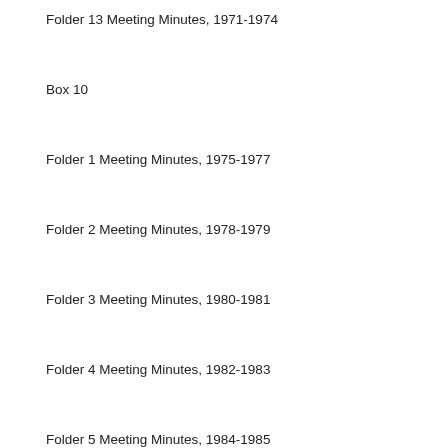Folder 13 Meeting Minutes, 1971-1974
Box 10
Folder 1 Meeting Minutes, 1975-1977
Folder 2 Meeting Minutes, 1978-1979
Folder 3 Meeting Minutes, 1980-1981
Folder 4 Meeting Minutes, 1982-1983
Folder 5 Meeting Minutes, 1984-1985
Folder 6 Meeting Minutes, 1986
Folder 7 Meeting Minutes, 1987
Folder 8 Meeting Minutes, 1988
Folder 9 Meeting Minutes, 1989
Folder 10 Meeting Minutes, 1990
Folder 11 Meeting Minutes, 1991
Folder 12 Meeting Minutes, 1992
Folder 13 Meeting Minutes, 1993